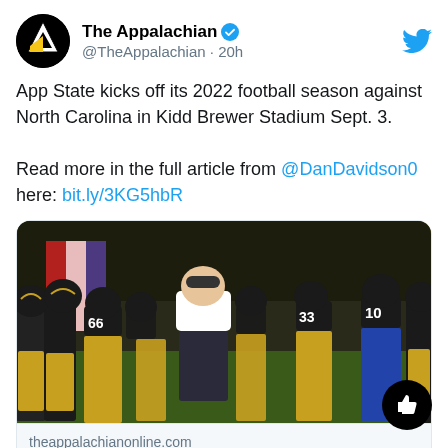The Appalachian @TheAppalachian · 20h
App State kicks off its 2022 football season against North Carolina in Kidd Brewer Stadium Sept. 3.

Read more in the full article from @DanDavidson0 here: bit.ly/3KG5hbR
[Figure (photo): Football team running onto field, coach in white shirt surrounded by players in black and gold uniforms]
theappalachianonline.com
Mountaineers welcome Tar Heels for football season opener